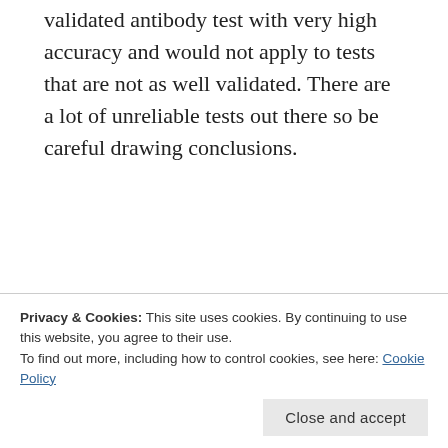validated antibody test with very high accuracy and would not apply to tests that are not as well validated. There are a lot of unreliable tests out there so be careful drawing conclusions.
The bottom line:
If you have tested positive and recovered you are likely immune but we don't know what levels of antibody protect from reinfection or how long
distancing, hand washing, and mask wearing
Privacy & Cookies: This site uses cookies. By continuing to use this website, you agree to their use.
To find out more, including how to control cookies, see here: Cookie Policy